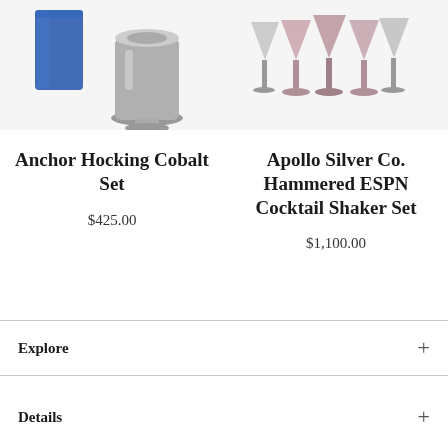[Figure (photo): Photo of Anchor Hocking Cobalt Set — blue glass tumbler and silver-toned ice bucket on white background]
[Figure (photo): Photo of Apollo Silver Co. Hammered ESPN Cocktail Shaker Set — set of silver/rose-tinted cocktail glasses on white background]
Anchor Hocking Cobalt Set
$425.00
Apollo Silver Co. Hammered ESPN Cocktail Shaker Set
$1,100.00
Explore
Details